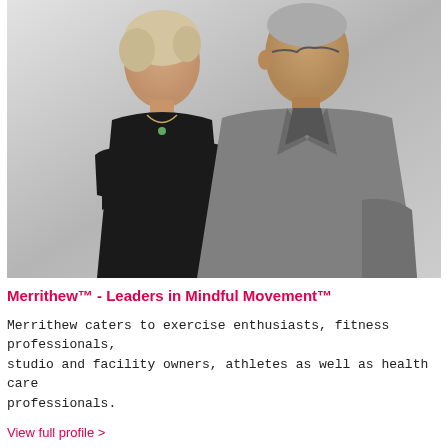[Figure (photo): Two middle-aged adults (a woman in black and a man in gray) standing back-to-back against a light gray background.]
Merrithew™ - Leaders in Mindful Movement™
Merrithew caters to exercise enthusiasts, fitness professionals, studio and facility owners, athletes as well as health care professionals.
View full profile >